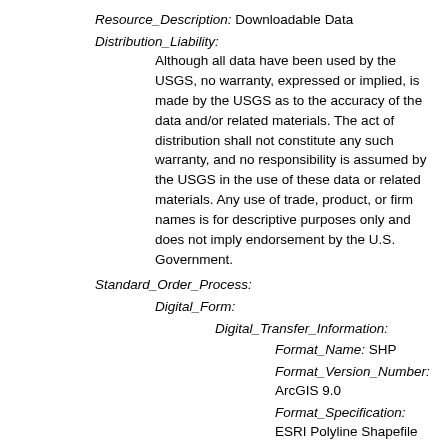Resource_Description: Downloadable Data
Distribution_Liability: Although all data have been used by the USGS, no warranty, expressed or implied, is made by the USGS as to the accuracy of the data and/or related materials. The act of distribution shall not constitute any such warranty, and no responsibility is assumed by the USGS in the use of these data or related materials. Any use of trade, product, or firm names is for descriptive purposes only and does not imply endorsement by the U.S. Government.
Standard_Order_Process:
Digital_Form:
Digital_Transfer_Information:
Format_Name: SHP
Format_Version_Number: ArcGIS 9.0
Format_Specification: ESRI Polyline Shapefile
Format_Information_Content: Shapefile contains 1 meter bathymetric contours
File_Decompression_Technique: zip archive
Transfer_Size: 0.2
Digital_Transfer_Option:
Online_Option: